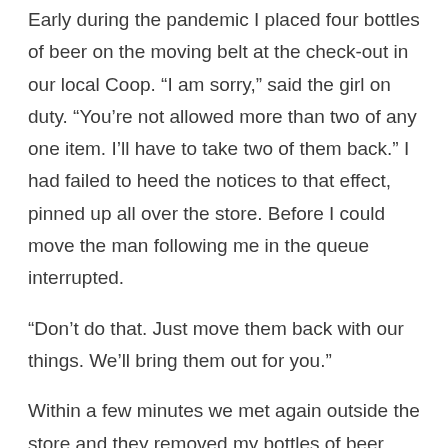Early during the pandemic I placed four bottles of beer on the moving belt at the check-out in our local Coop. “I am sorry,” said the girl on duty. “You’re not allowed more than two of any one item. I’ll have to take two of them back.” I had failed to heed the notices to that effect, pinned up all over the store. Before I could move the man following me in the queue interrupted.
“Don’t do that. Just move them back with our things. We’ll bring them out for you.”
Within a few minutes we met again outside the store and they removed my bottles of beer from among their groceries. Then I reached into my pocket for my wallet.
“No, no. That’s all right. We were pleased to do it.”
And no matter what I tried, they would not allow me to pay them; it was as if getting round some regulations was sufficient reward. They were certainly pleased with themselves, but, of course, this